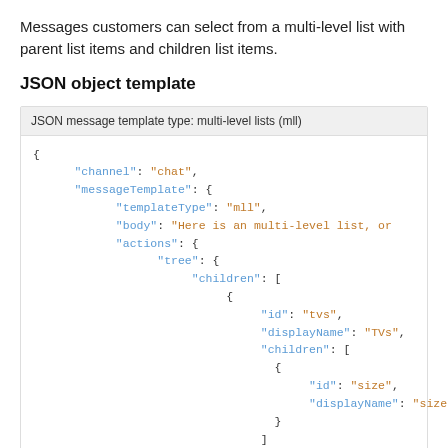Messages customers can select from a multi-level list with parent list items and children list items.
JSON object template
JSON message template type: multi-level lists (mll)
[Figure (screenshot): JSON code block showing a JSON object template with channel, messageTemplate fields including templateType, body, actions with tree and children arrays containing id, displayName fields for TVs and size entries.]